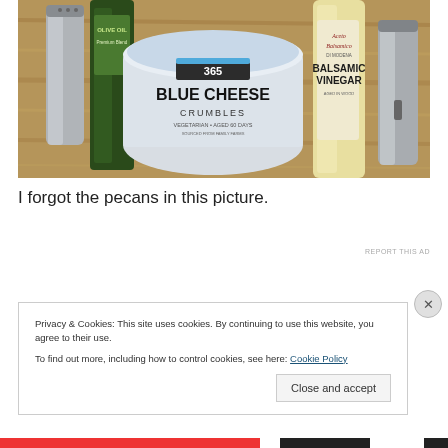[Figure (photo): Photo of cooking ingredients on a wooden surface: blue cheese crumbles container (365 brand), balsamic vinegar bottle, olive oil bottle, and two stainless steel salt/pepper shakers]
I forgot the pecans in this picture.
REPORT THIS AD
Privacy & Cookies: This site uses cookies. By continuing to use this website, you agree to their use.
To find out more, including how to control cookies, see here: Cookie Policy